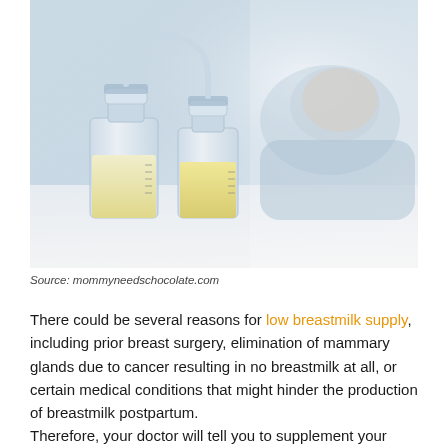[Figure (photo): Photo of breast pump collection bottles filled with breast milk in the foreground, with a sleeping baby in a blue outfit blurred in the background on a white surface.]
Source: mommyneedschocolate.com
There could be several reasons for low breastmilk supply, including prior breast surgery, elimination of mammary glands due to cancer resulting in no breastmilk at all, or certain medical conditions that might hinder the production of breastmilk postpartum.
Therefore, your doctor will tell you to supplement your child's